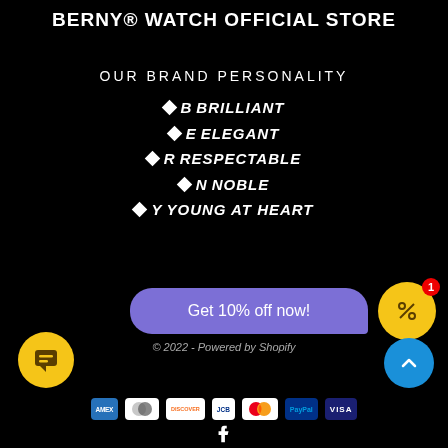BERNY® WATCH OFFICIAL STORE
OUR BRAND PERSONALITY
◆B  BRILLIANT
◆E  ELEGANT
◆R  RESPECTABLE
◆N  NOBLE
◆Y  YOUNG AT HEART
Get 10% off now!
© 2022 - Powered by Shopify